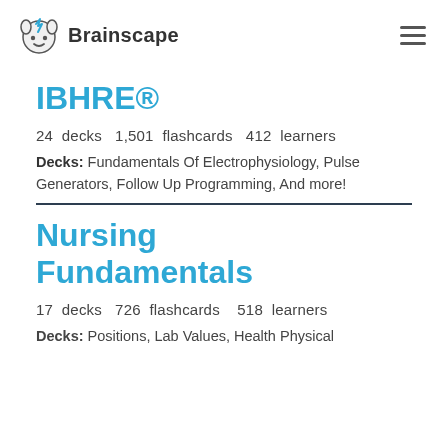Brainscape
IBHRE®
24 decks   1,501 flashcards   412 learners
Decks: Fundamentals Of Electrophysiology, Pulse Generators, Follow Up Programming, And more!
Nursing Fundamentals
17 decks   726 flashcards   518 learners
Decks: Positions, Lab Values, Health Physical